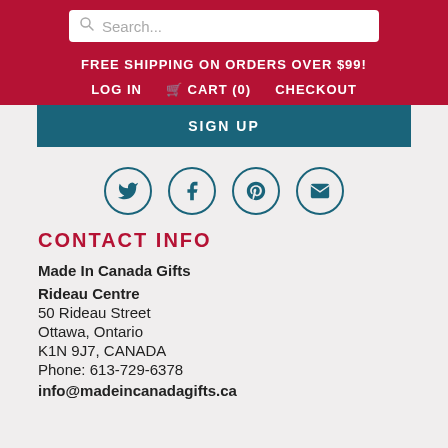Search...
FREE SHIPPING ON ORDERS OVER $99!
LOG IN   CART (0)   CHECKOUT
SIGN UP
[Figure (infographic): Four social media icons in circular outlines: Twitter bird, Facebook f, Pinterest p, and Email envelope. Teal/dark blue color on light background.]
CONTACT INFO
Made In Canada Gifts
Rideau Centre
50 Rideau Street
Ottawa, Ontario
K1N 9J7,  CANADA
Phone:  613-729-6378
info@madeincanadagifts.ca